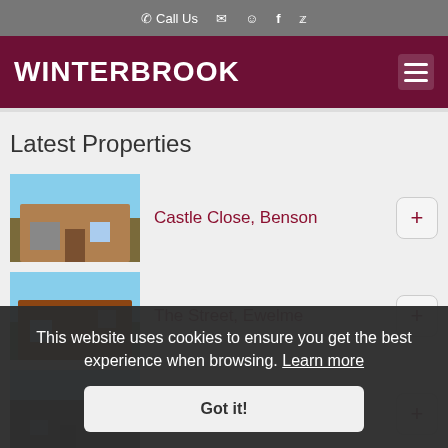Call Us [phone icon] [email icon] [person icon] [facebook icon] [twitter icon]
WINTERBROOK
Latest Properties
Castle Close, Benson
The Street, Ewelme
[partially visible property name] Wallingford
This website uses cookies to ensure you get the best experience when browsing. Learn more
Got it!